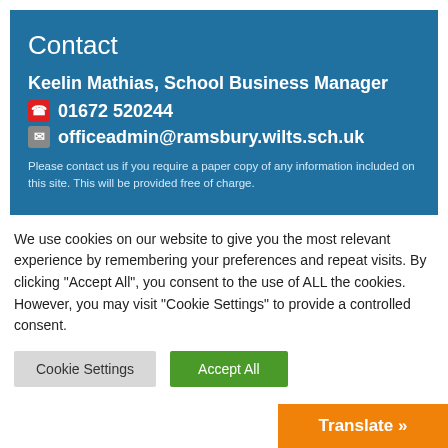Contact
Keelin Mathias, School Business Manager
📞 01672 520244
✉ officeadmin@ramsbury.wilts.sch.uk
Please contact us if you require a paper copy of any information included on this site. This will be provided free of charge.
We use cookies on our website to give you the most relevant experience by remembering your preferences and repeat visits. By clicking "Accept All", you consent to the use of ALL the cookies. However, you may visit "Cookie Settings" to provide a controlled consent.
Cookie Settings
Accept All
Translate »